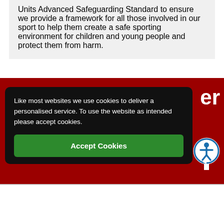Units Advanced Safeguarding Standard to ensure we provide a framework for all those involved in our sport to help them create a safe sporting environment for children and young people and protect them from harm.
Like most websites we use cookies to deliver a personalised service. To use the website as intended please accept cookies.
Accept Cookies